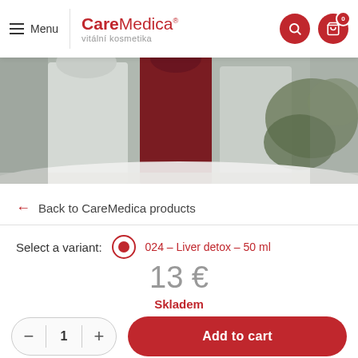Menu | CareMedica® vitální kosmetika
[Figure (photo): Hero banner photo showing people in white and dark red robes outdoors with snow and foliage]
← Back to CareMedica products
Select a variant:  024 – Liver detox – 50 ml
13 €
Skladem
− 1 + Add to cart